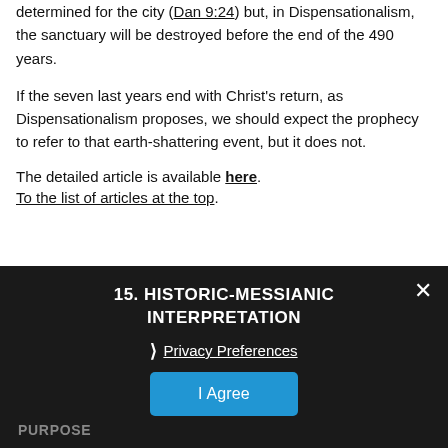determined for the city (Dan 9:24) but, in Dispensationalism, the sanctuary will be destroyed before the end of the 490 years.
If the seven last years end with Christ's return, as Dispensationalism proposes, we should expect the prophecy to refer to that earth-shattering event, but it does not.
The detailed article is available here.
To the list of articles at the top.
15. HISTORIC-MESSIANIC INTERPRETATION
Privacy Preferences
I Agree
PURPOSE